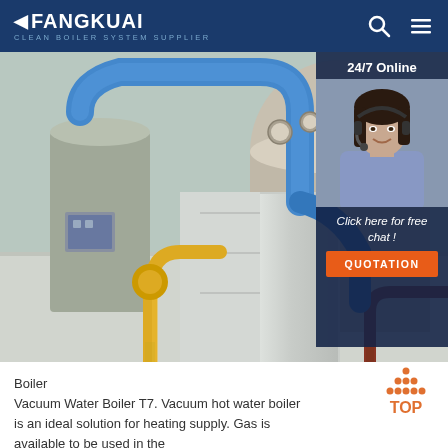FANGKUAI — Clean Boiler System Supplier
[Figure (photo): Industrial boiler room with large cylindrical boilers, blue and yellow pipes, and metallic insulated equipment on a white floor. Overlay panel on right shows '24/7 Online' with customer service representative wearing headset, 'Click here for free chat!' text, and an orange QUOTATION button.]
Boiler
Vacuum Water Boiler T7. Vacuum hot water boiler is an ideal solution for heating supply. Gas is available to be used in the